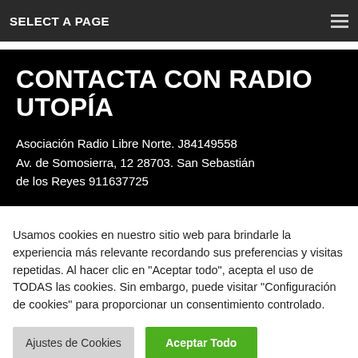SELECT A PAGE
CONTACTA CON RADIO UTOPÍA
Asociación Radio Libre Norte. J84149558
Av. de Somosierra, 12 28703. San Sebastián de los Reyes 911637725
Usamos cookies en nuestro sitio web para brindarle la experiencia más relevante recordando sus preferencias y visitas repetidas. Al hacer clic en "Aceptar todo", acepta el uso de TODAS las cookies. Sin embargo, puede visitar "Configuración de cookies" para proporcionar un consentimiento controlado.
Ajustes de Cookies
Aceptar Todo